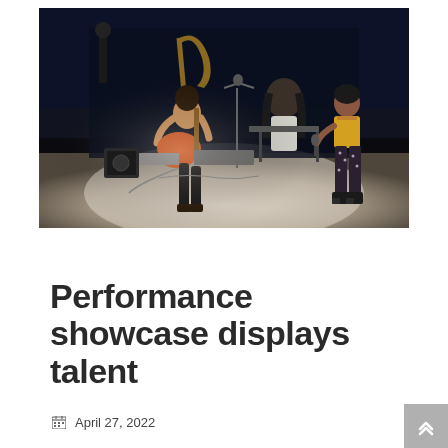[Figure (photo): Stage performance showing a guitarist, a vocalist in a yellow top and patterned pants, a keyboard player, and brass musicians in the background on a dimly lit stage with a dark curtain backdrop.]
Campus Life
Performance showcase displays talent
April 27, 2022